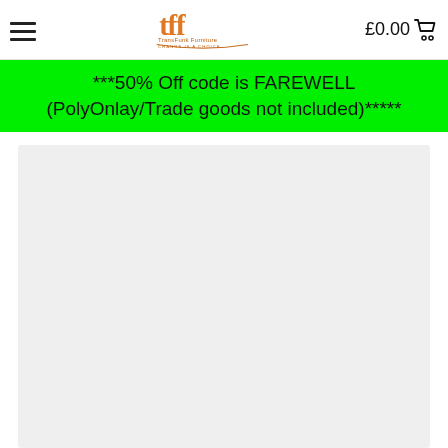TransFunk Furniture — CHANGE IS A CHOICE | £0.00
***50% Off code is FAREWELL (PolyOnlay/Trade goods not included)*****
[Figure (photo): Light grey product image placeholder area]